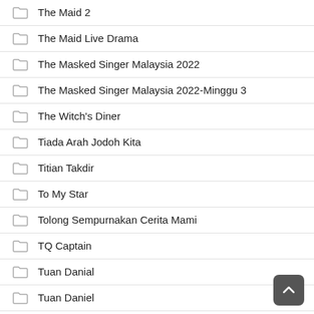The Maid 2
The Maid Live Drama
The Masked Singer Malaysia 2022
The Masked Singer Malaysia 2022-Minggu 3
The Witch's Diner
Tiada Arah Jodoh Kita
Titian Takdir
To My Star
Tolong Sempurnakan Cerita Mami
TQ Captain
Tuan Danial
Tuan Daniel
Tumpang Lalu Bang
Tv Show
Ulva & Dini